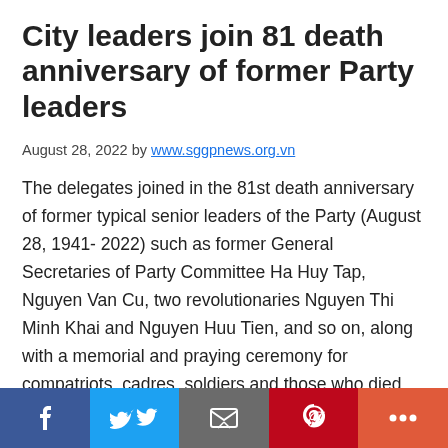City leaders join 81 death anniversary of former Party leaders
August 28, 2022 by www.sggpnews.org.vn
The delegates joined in the 81st death anniversary of former typical senior leaders of the Party (August 28, 1941- 2022) such as former General Secretaries of Party Committee Ha Huy Tap, Nguyen Van Cu, two revolutionaries Nguyen Thi Minh Khai and Nguyen Huu Tien, and so on, along with a memorial and praying ceremony for compatriots, cadres, soldiers and those who died
[Figure (infographic): Social sharing bar with Facebook, Twitter, Email, Pinterest, and More buttons]